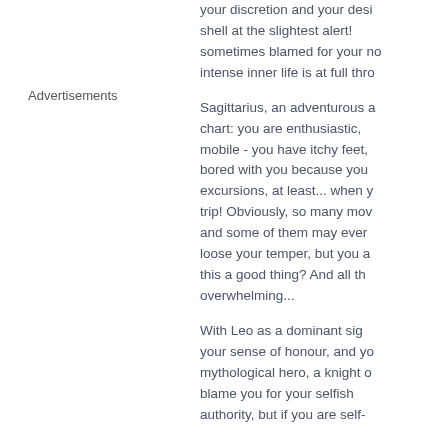Advertisements
your discretion and your desi shell at the slightest alert! sometimes blamed for your no intense inner life is at full thro
Sagittarius, an adventurous a chart: you are enthusiastic, mobile - you have itchy feet, bored with you because you excursions, at least... when y trip! Obviously, so many mov and some of them may ever loose your temper, but you a this a good thing? And all th overwhelming...
With Leo as a dominant sig your sense of honour, and yo mythological hero, a knight o blame you for your selfish authority, but if you are self-